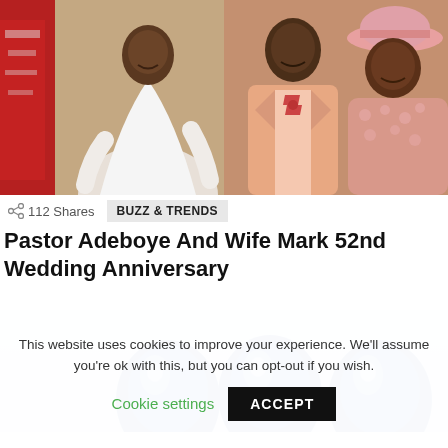[Figure (photo): Two photos side by side: left shows a man in white traditional Nigerian attire with someone in red beside him, right shows a man in a pink/peach suit with bow tie and a woman in a pink hat and dress.]
112 Shares
BUZZ & TRENDS
Pastor Adeboye And Wife Mark 52nd Wedding Anniversary
[Figure (photo): Partial image showing three stylized blue faces/heads against a light blue gradient background.]
This website uses cookies to improve your experience. We'll assume you're ok with this, but you can opt-out if you wish.
Cookie settings
ACCEPT